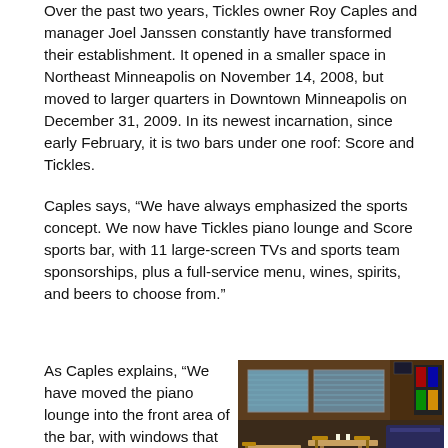Over the past two years, Tickles owner Roy Caples and manager Joel Janssen constantly have transformed their establishment. It opened in a smaller space in Northeast Minneapolis on November 14, 2008, but moved to larger quarters in Downtown Minneapolis on December 31, 2009. In its newest incarnation, since early February, it is two bars under one roof: Score and Tickles.
Caples says, “We have always emphasized the sports concept. We now have Tickles piano lounge and Score sports bar, with 11 large-screen TVs and sports team sponsorships, plus a full-service menu, wines, spirits, and beers to choose from.”
As Caples explains, “We have moved the piano lounge into the front area of the bar, with windows that look outside, while maintaining the sports theme in the main bar. Along with this, we have an expanded room with pool tables, games, and dart boards.”
[Figure (photo): Interior of Score/Tickles bar showing wood-paneled walls, dining tables with chairs, large windows with blinds, and TV screens visible in the background.]